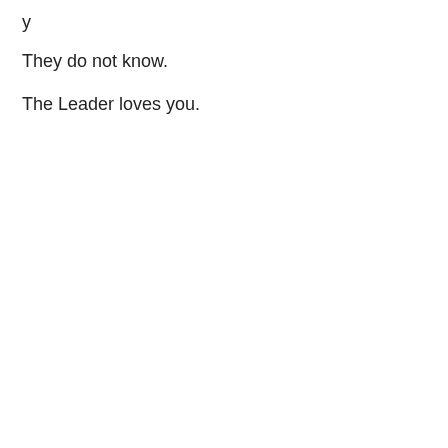y
They do not know.
The Leader loves you.